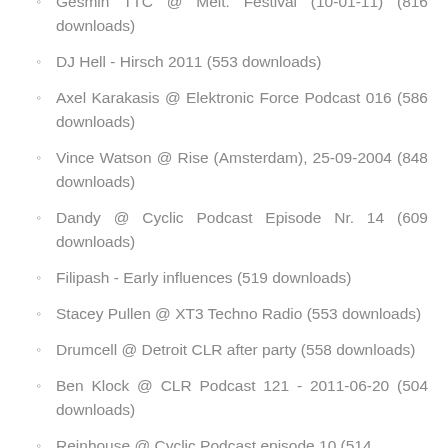Gesmin TTC @ Melt. Festival (10-01-11) (816 downloads)
DJ Hell - Hirsch 2011 (553 downloads)
Axel Karakasis @ Elektronic Force Podcast 016 (586 downloads)
Vince Watson @ Rise (Amsterdam), 25-09-2004 (848 downloads)
Dandy @ Cyclic Podcast Episode Nr. 14 (609 downloads)
Filipash - Early influences (519 downloads)
Stacey Pullen @ XT3 Techno Radio (553 downloads)
Drumcell @ Detroit CLR after party (558 downloads)
Ben Klock @ CLR Podcast 121 - 2011-06-20 (504 downloads)
Reinhouse @ Cyclic Podcast episode 10 (514...)